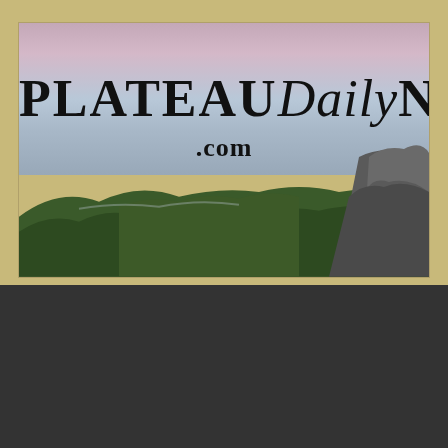[Figure (logo): Plateau Daily News .com logo overlaid on a landscape photo showing mountains, green forested hills, rocky cliffs on the right, and a pink-blue sunset sky]
BACK TO TOP
[Figure (photo): Partial bottom image strip showing the beginning of another photograph]